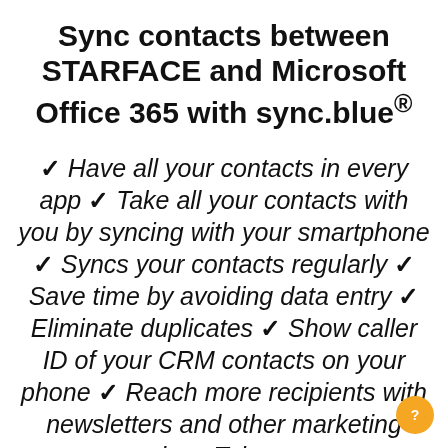Sync contacts between STARFACE and Microsoft Office 365 with sync.blue®
✓ Have all your contacts in every app ✓ Take all your contacts with you by syncing with your smartphone ✓ Syncs your contacts regularly ✓ Save time by avoiding data entry ✓ Eliminate duplicates ✓ Show caller ID of your CRM contacts on your phone ✓ Reach more recipients with newsletters and other marketing tools ✓ Take your